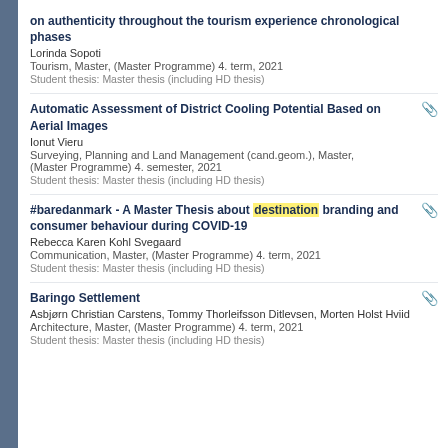on authenticity throughout the tourism experience chronological phases
Lorinda Sopoti
Tourism, Master, (Master Programme) 4. term, 2021
Student thesis: Master thesis (including HD thesis)
Automatic Assessment of District Cooling Potential Based on Aerial Images
Ionut Vieru
Surveying, Planning and Land Management (cand.geom.), Master, (Master Programme) 4. semester, 2021
Student thesis: Master thesis (including HD thesis)
#baredanmark - A Master Thesis about destination branding and consumer behaviour during COVID-19
Rebecca Karen Kohl Svegaard
Communication, Master, (Master Programme) 4. term, 2021
Student thesis: Master thesis (including HD thesis)
Baringo Settlement
Asbjørn Christian Carstens, Tommy Thorleifsson Ditlevsen, Morten Holst Hviid
Architecture, Master, (Master Programme) 4. term, 2021
Student thesis: Master thesis (including HD thesis)